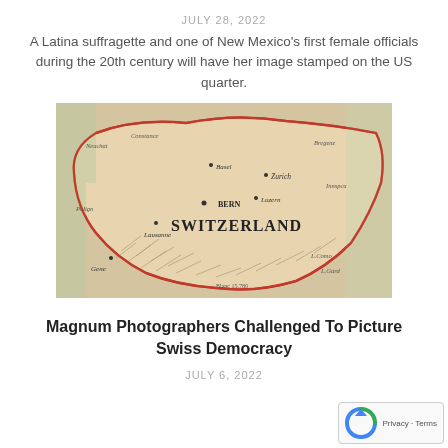JULY 28, 2022
A Latina suffragette and one of New Mexico's first female officials during the 20th century will have her image stamped on the US quarter.
[Figure (map): Vintage map of Switzerland showing cities including Bern, Zurich, Lucerne, Basel, Lausanne, Geneva, and surrounding regions with decorative cartographic style.]
Magnum Photographers Challenged To Picture Swiss Democracy
JULY 6, 2022